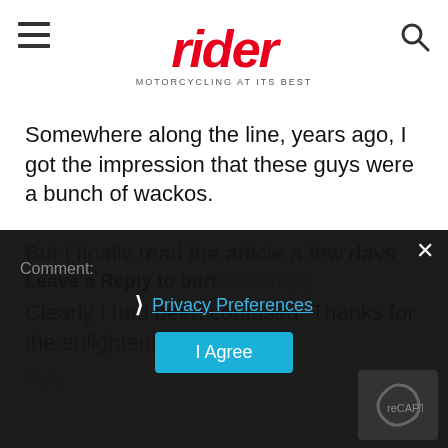rider — MOTORCYCLING AT ITS BEST
Somewhere along the line, years ago, I got the impression that these guys were a bunch of wackos.

But I finally read the article a few days ago, learned that they seem totally cool. Clearly I had been confused. Thanks for the enlightenment.
Reply
Leave a Reply to burt   Cancel reply
Comment:
Privacy Preferences
I Agree